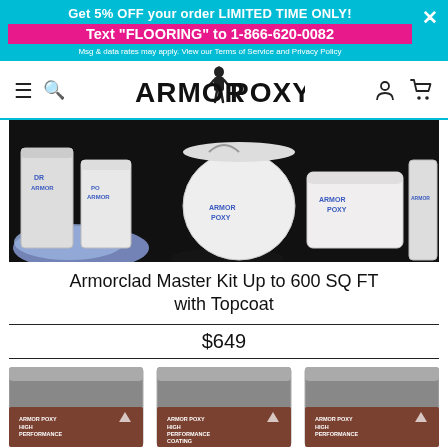Get 5% OFF your order LIMITED TIME ONLY!
Text "FLOORING" to 1-866-620-0082
Msg & data rates may apply. View our Terms of Service and Privacy Policy
[Figure (logo): ArmorPoxy logo with knight figure]
[Figure (photo): Photo of Armorpoxy product buckets and color chip samples on dark background]
Armorclad Master Kit Up to 600 SQ FT with Topcoat
$649
[Figure (photo): Three ArmorPoxy High Performance Coating cans/buckets shown at bottom of page]